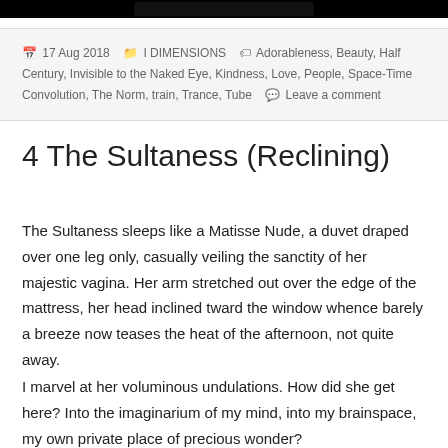17 Aug 2018   I DIMENSIONS   Adorableness, Beauty, Half Century, Invisible to the Naked Eye, Kindness, Love, People, Space-Time Convolution, The Norm, train, Trance, Tube   Leave a comment
4 The Sultaness (Reclining)
The Sultaness sleeps like a Matisse Nude, a duvet draped over one leg only, casually veiling the sanctity of her majestic vagina. Her arm stretched out over the edge of the mattress, her head inclined tward the window whence barely a breeze now teases the heat of the afternoon, not quite away.
I marvel at her voluminous undulations. How did she get here? Into the imaginarium of my mind, into my brainspace, my own private place of precious wonder?